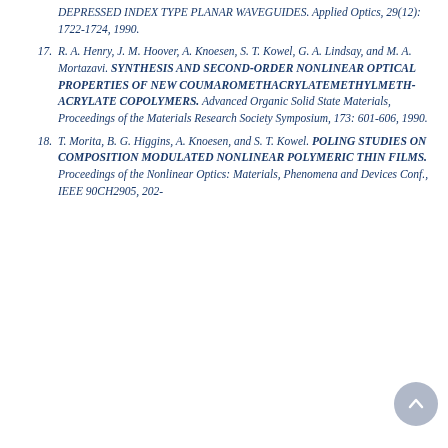DEPRESSED INDEX TYPE PLANAR WAVEGUIDES. Applied Optics, 29(12): 1722-1724, 1990.
17. R. A. Henry, J. M. Hoover, A. Knoesen, S. T. Kowel, G. A. Lindsay, and M. A. Mortazavi. SYNTHESIS AND SECOND-ORDER NONLINEAR OPTICAL PROPERTIES OF NEW COUMAROMETHACRYLATEMETHYLMETH-ACRYLATE COPOLYMERS. Advanced Organic Solid State Materials, Proceedings of the Materials Research Society Symposium, 173: 601-606, 1990.
18. T. Morita, B. G. Higgins, A. Knoesen, and S. T. Kowel. POLING STUDIES ON COMPOSITION MODULATED NONLINEAR POLYMERIC THIN FILMS. Proceedings of the Nonlinear Optics: Materials, Phenomena and Devices Conf., IEEE 90CH2905, 202-